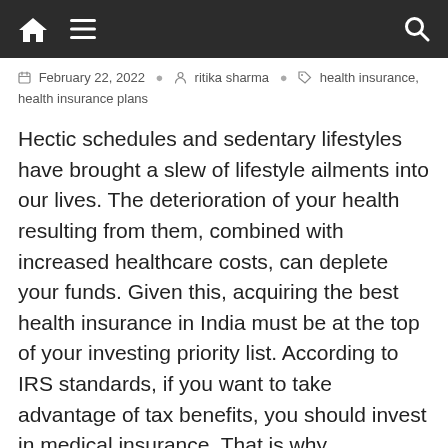Navigation bar with home, menu, and search icons
February 22, 2022  ritika sharma  health insurance, health insurance plans
Hectic schedules and sedentary lifestyles have brought a slew of lifestyle ailments into our lives. The deterioration of your health resulting from them, combined with increased healthcare costs, can deplete your funds. Given this, acquiring the best health insurance in India must be at the top of your investing priority list. According to IRS standards, if you want to take advantage of tax benefits, you should invest in medical insurance. That is why purchasing medical insurance or personal accident insurance for yourself and your family. It may help keep not only medical expenses at bay but also avoid financial and tax liabilities.